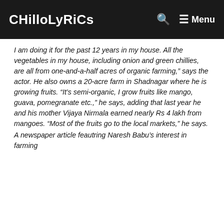CHilloLyRiCs  Menu
I am doing it for the past 12 years in my house. All the vegetables in my house, including onion and green chillies, are all from one-and-a-half acres of organic farming,” says the actor. He also owns a 20-acre farm in Shadnagar where he is growing fruits. “It’s semi-organic, I grow fruits like mango, guava, pomegranate etc.,” he says, adding that last year he and his mother Vijaya Nirmala earned nearly Rs 4 lakh from mangoes. “Most of the fruits go to the local markets,” he says.
A newspaper article feautring Naresh Babu’s interest in farming